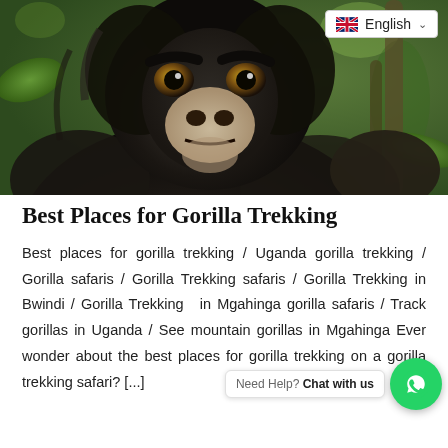[Figure (photo): Close-up photo of a young mountain gorilla with dark fur and golden-brown eyes, looking at the camera, set against a green jungle background. An 'English' language selector badge with UK flag is overlaid in the top-right corner.]
Best Places for Gorilla Trekking
Best places for gorilla trekking / Uganda gorilla trekking / Gorilla safaris / Gorilla Trekking safaris / Gorilla Trekking in Bwindi / Gorilla Trekking in Mgahinga gorilla safaris / Track gorillas in Uganda / See mountain gorillas in Mgahinga Ever wonder about the best places for gorilla trekking on a gorilla trekking safari? [...]